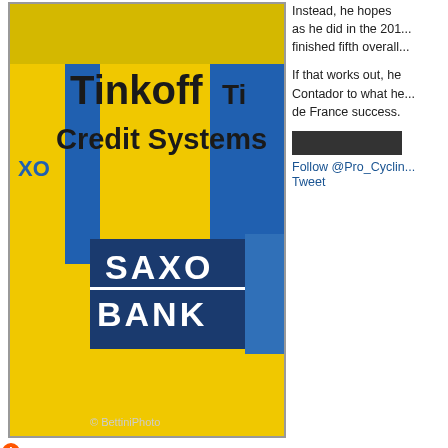[Figure (photo): Cyclist wearing yellow Tinkoff Credit Systems jersey with SAXO BANK logo and XO text, close-up torso shot. Watermark: © BettiniPhoto]
Instead, he hopes ... as he did in the 201... finished fifth overall...
If that works out, he... Contador to what he... de France success.
Follow @Pro_Cyclin... Tweet
Contact the editor about this article
Related Articles
Roche sidelined from bike due to injury, but says he has enough time to hit sh...
Nicolas Roche feature: Rejigging everything in order to be as strong as possib...
Nicolas Roche video interview part II: Getting the balance right, building for...
Nicolas Roche video interview part I: Analysing 2013, a team change and a br...
Video: Roche racing for Team Saxo-Bank at leading international 2014 Ci...